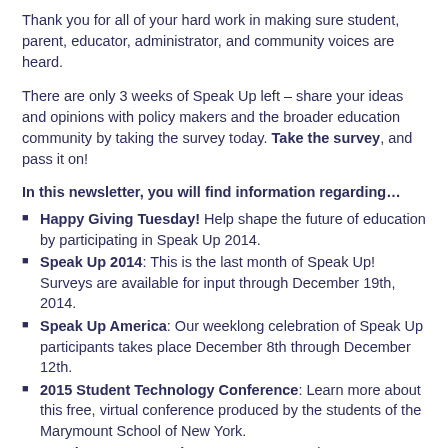Thank you for all of your hard work in making sure student, parent, educator, administrator, and community voices are heard.
There are only 3 weeks of Speak Up left – share your ideas and opinions with policy makers and the broader education community by taking the survey today. Take the survey, and pass it on!
In this newsletter, you will find information regarding…
Happy Giving Tuesday! Help shape the future of education by participating in Speak Up 2014.
Speak Up 2014: This is the last month of Speak Up! Surveys are available for input through December 19th, 2014.
Speak Up America: Our weeklong celebration of Speak Up participants takes place December 8th through December 12th.
2015 Student Technology Conference: Learn more about this free, virtual conference produced by the students of the Marymount School of New York.
Speak Up Data Luncheon at ISTE: Learn how to use your Speak Up data at this special workshop for school and district